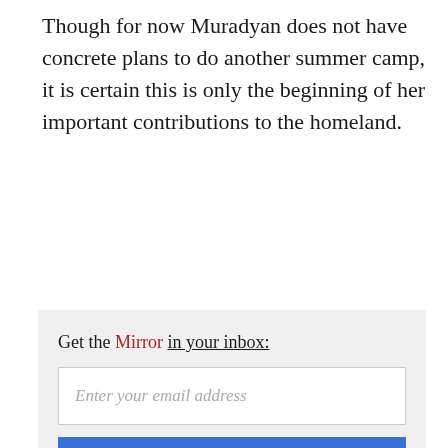Though for now Muradyan does not have concrete plans to do another summer camp, it is certain this is only the beginning of her important contributions to the homeland.
[Figure (other): Email subscription widget with label 'Get the Mirror in your inbox:', an email input field placeholder 'Enter your email address', and a blue SUBSCRIBE button.]